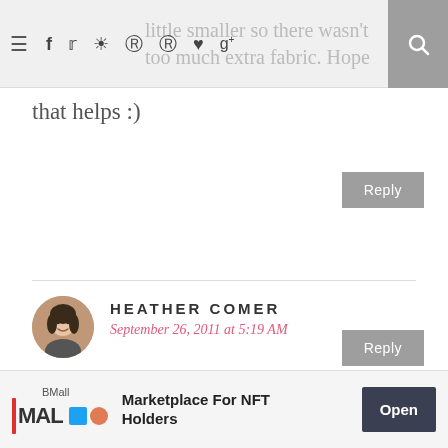≡  f  t  ⊕  ♡  g+  🔍
little smaller so there wasn't too much extra fabric. Hope that helps :)
Reply
HEATHER COMER
September 26, 2011 at 5:19 AM
I want to make this! I need to get a machine NOW! ;) thanks for this. Also saw this on pinterest.
Reply
BMall  Marketplace For NFT Holders  Open